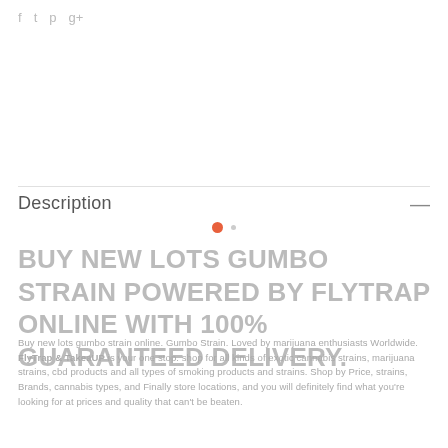f  t  p  g+
Description  —
[Figure (other): Orange dot and small gray dot (carousel/pagination indicators)]
BUY NEW LOTS GUMBO STRAIN POWERED BY FLYTRAP ONLINE WITH 100% GUARANTEED DELIVERY.
Buy new lots gumbo strain online. Gumbo Strain. Loved by marijuana enthusiasts Worldwide. FlyTrap & TakeaUP is your one stop. shop for all kinds of exotic cannabis strains, marijuana strains, cbd products and all types of smoking products and strains. Shop by Price, strains, Brands, cannabis types, and Finally store locations, and you will definitely find what you're looking for at prices and quality that can't be beaten.